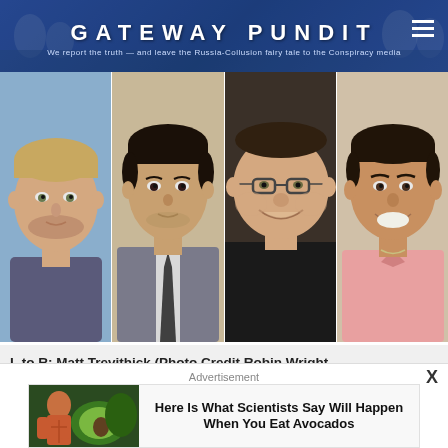GATEWAY PUNDIT — We report the truth — and leave the Russia-Collusion fairy tale to the Conspiracy media
[Figure (photo): Four headshot photos side by side: four men, left to right]
L to R: Matt Trevithick (Photo Credit Robin Wright…
Advertisement
[Figure (photo): Advertisement image: muscular figure with avocados]
Here Is What Scientists Say Will Happen When You Eat Avocados
Herbeauty